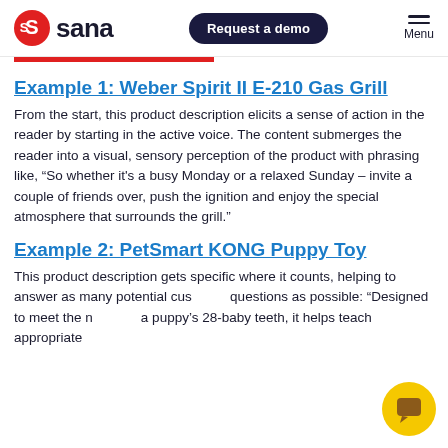sana | Request a demo | Menu
Example 1: Weber Spirit II E-210 Gas Grill
From the start, this product description elicits a sense of action in the reader by starting in the active voice. The content submerges the reader into a visual, sensory perception of the product with phrasing like, “So whether it's a busy Monday or a relaxed Sunday – invite a couple of friends over, push the ignition and enjoy the special atmosphere that surrounds the grill.”
Example 2: PetSmart KONG Puppy Toy
This product description gets specific where it counts, helping to answer as many potential customer questions as possible: “Designed to meet the needs of a puppy’s 28-baby teeth, it helps teach appropriate